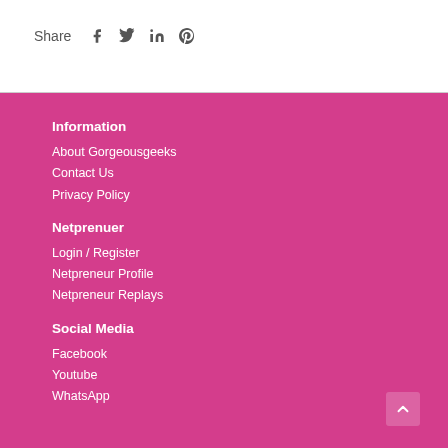Share
Information
About Gorgeousgeeks
Contact Us
Privacy Policy
Netprenuer
Login / Register
Netpreneur Profile
Netpreneur Replays
Social Media
Facebook
Youtube
WhatsApp